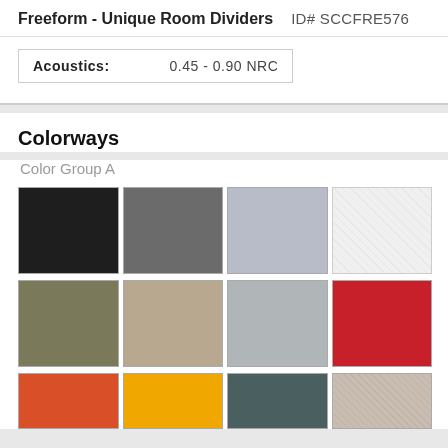Freeform - Unique Room Dividers  ID# SCCFRE576
Acoustics: 0.45 - 0.90 NRC
Colorways
Color Group A
[Figure (other): Color swatches grid showing 12 fabric color samples arranged in 3 rows of 4: Row 1: black, dark gray, light gray, white/off-white. Row 2: olive/khaki, beige/heather, silver gray, red. Row 3: orange, yellow/amber, teal/dark green, light heather beige.]